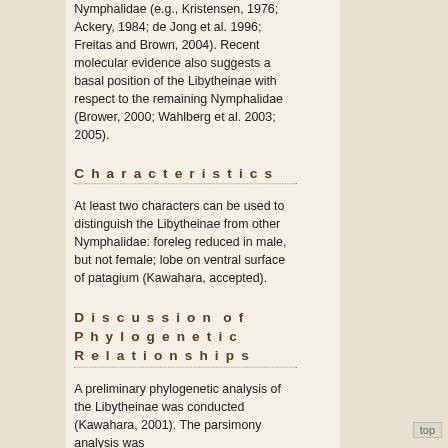Nymphalidae (e.g., Kristensen, 1976; Ackery, 1984; de Jong et al. 1996; Freitas and Brown, 2004). Recent molecular evidence also suggests a basal position of the Libytheinae with respect to the remaining Nymphalidae (Brower, 2000; Wahlberg et al. 2003; 2005).
Characteristics
At least two characters can be used to distinguish the Libytheinae from other Nymphalidae: foreleg reduced in male, but not female; lobe on ventral surface of patagium (Kawahara, accepted).
Discussion of Phylogenetic Relationships
A preliminary phylogenetic analysis of the Libytheinae was conducted (Kawahara, 2001). The parsimony analysis was
top